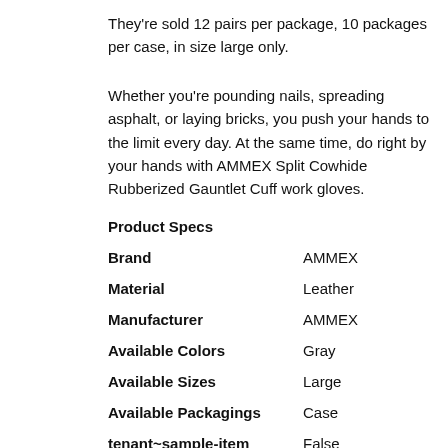They're sold 12 pairs per package, 10 packages per case, in size large only.
Whether you're pounding nails, spreading asphalt, or laying bricks, you push your hands to the limit every day. At the same time, do right by your hands with AMMEX Split Cowhide Rubberized Gauntlet Cuff work gloves.
Product Specs
| Attribute | Value |
| --- | --- |
| Brand | AMMEX |
| Material | Leather |
| Manufacturer | AMMEX |
| Available Colors | Gray |
| Available Sizes | Large |
| Available Packagings | Case |
| tenant~sample-item | False |
| Product Code | 816DP |
| Weight | 54.7000 lbs |
| Length | 14.000 in |